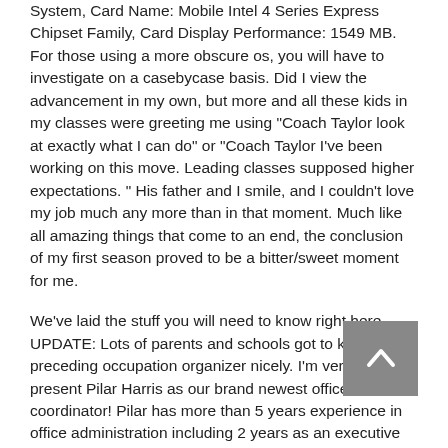System, Card Name: Mobile Intel 4 Series Express Chipset Family, Card Display Performance: 1549 MB. For those using a more obscure os, you will have to investigate on a casebycase basis. Did I view the advancement in my own, but more and all these kids in my classes were greeting me using "Coach Taylor look at exactly what I can do" or "Coach Taylor I've been working on this move. Leading classes supposed higher expectations. " His father and I smile, and I couldn't love my job much any more than in that moment. Much like all amazing things that come to an end, the conclusion of my first season proved to be a bitter/sweet moment for me.
We've laid the stuff you will need to know right here. UPDATE: Lots of parents and schools got to know our preceding occupation organizer nicely. I'm very happy to present Pilar Harris as our brand newest office coordinator! Pilar has more than 5 years experience in office administration including 2 years as an executive assistant with TNBA Youth Sports Academy at Orange County. If you call call, email, or visit work you will likely interact with Pilar. Even when not, anyone will enjoy construction defence towers, auras, barricades and fight